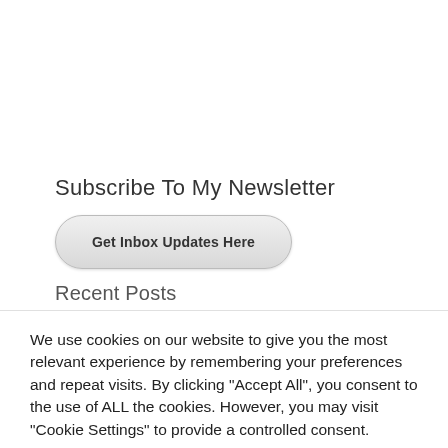Subscribe To My Newsletter
Get Inbox Updates Here
Recent Posts
We use cookies on our website to give you the most relevant experience by remembering your preferences and repeat visits. By clicking “Accept All”, you consent to the use of ALL the cookies. However, you may visit "Cookie Settings" to provide a controlled consent.
Cookie Settings
Accept All